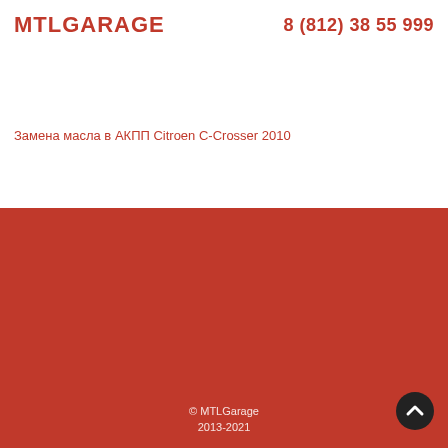MTL GARAGE   8 (812) 38 55 999
Замена масла в АКПП Citroen C-Crosser 2010
Замена масла в АКПП
Почему мы
Как выбрать сервис
Почему менять
Фотоотчеты
Как менять
Гарантии
Какое масло
Контакты
© MTLGarage 2013-2021